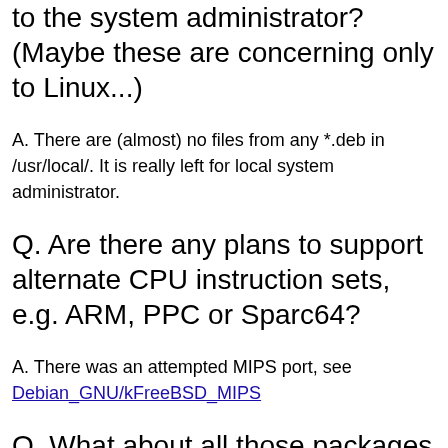to the system administrator? (Maybe these are concerning only to Linux...)
A. There are (almost) no files from any *.deb in /usr/local/. It is really left for local system administrator.
Q. Are there any plans to support alternate CPU instruction sets, e.g. ARM, PPC or Sparc64?
A. There was an attempted MIPS port, see Debian_GNU/kFreeBSD_MIPS
Q. What about all those packages which use ALSA?
Short A. Don't use ALSA.